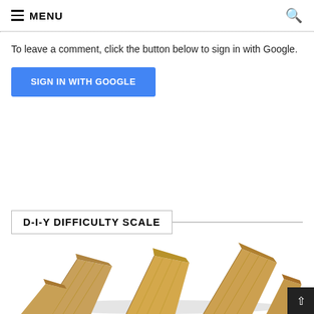≡ MENU
To leave a comment, click the button below to sign in with Google.
SIGN IN WITH GOOGLE
D-I-Y DIFFICULTY SCALE
[Figure (photo): Wooden block letters or pieces, partially visible at the bottom of the page, on a light background.]